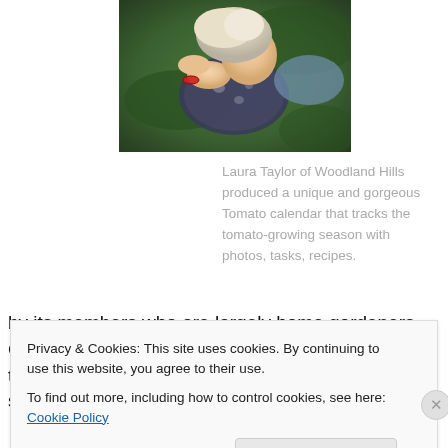[Figure (photo): Overhead photo of a person with light/blonde hair lying on green grass, wearing a floral top, with a red wristband visible]
Laura Taylor of Woodland Hills produced a unique and gorgeous Tomato calendar that tracks the tomato-growing season with photos, tasks, recipes.
by its members who are largely home gardeners. Goldman encouraged people to snatch and save the seeds of those heirloom tomatoes that catch their fancy
Privacy & Cookies: This site uses cookies. By continuing to use this website, you agree to their use.
To find out more, including how to control cookies, see here: Cookie Policy
Close and accept